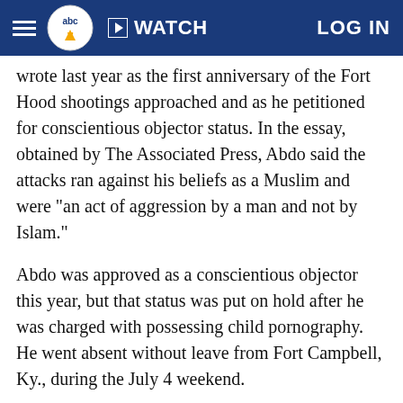abc7 WATCH LOG IN
wrote last year as the first anniversary of the Fort Hood shootings approached and as he petitioned for conscientious objector status. In the essay, obtained by The Associated Press, Abdo said the attacks ran against his beliefs as a Muslim and were "an act of aggression by a man and not by Islam."
Abdo was approved as a conscientious objector this year, but that status was put on hold after he was charged with possessing child pornography. He went absent without leave from Fort Campbell, Ky., during the July 4 weekend.
On July 3, Abdo tried to buy a gun at a store near Fort Campbell, according to the company that owns the store. Police in Killeen, where Fort Hood is located, said their break in the case came Tuesday from Guns Galore LLC